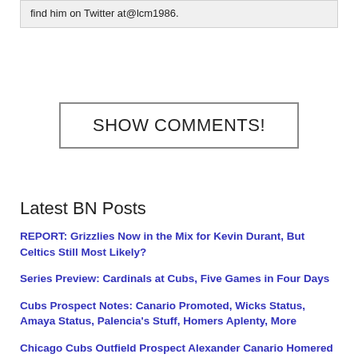find him on Twitter at@lcm1986.
SHOW COMMENTS!
Latest BN Posts
REPORT: Grizzlies Now in the Mix for Kevin Durant, But Celtics Still Most Likely?
Series Preview: Cardinals at Cubs, Five Games in Four Days
Cubs Prospect Notes: Canario Promoted, Wicks Status, Amaya Status, Palencia's Stuff, Homers Aplenty, More
Chicago Cubs Outfield Prospect Alexander Canario Homered Twice Today to Blast Past 30 on the Season